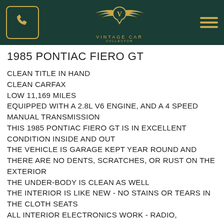Vintage Car Collector
1985 PONTIAC FIERO GT
CLEAN TITLE IN HAND
CLEAN CARFAX
LOW 11,169 MILES
EQUIPPED WITH A 2.8L V6 ENGINE, AND A 4 SPEED MANUAL TRANSMISSION
THIS 1985 PONTIAC FIERO GT IS IN EXCELLENT CONDITION INSIDE AND OUT
THE VEHICLE IS GARAGE KEPT YEAR ROUND AND THERE ARE NO DENTS, SCRATCHES, OR RUST ON THE EXTERIOR
THE UNDER-BODY IS CLEAN AS WELL
THE INTERIOR IS LIKE NEW - NO STAINS OR TEARS IN THE CLOTH SEATS
ALL INTERIOR ELECTRONICS WORK - RADIO,